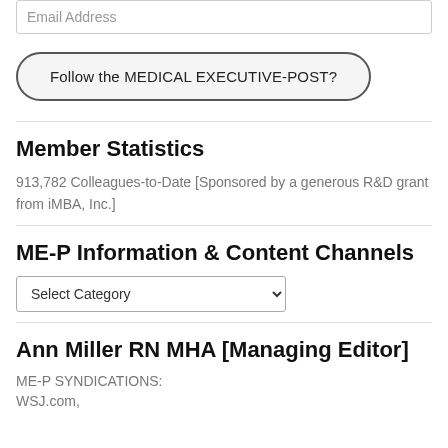Email Address
Follow the MEDICAL EXECUTIVE-POST?
Member Statistics
913,782 Colleagues-to-Date [Sponsored by a generous R&D grant from iMBA, Inc.]
ME-P Information & Content Channels
Select Category
Ann Miller RN MHA [Managing Editor]
ME-P SYNDICATIONS:
WSJ.com,